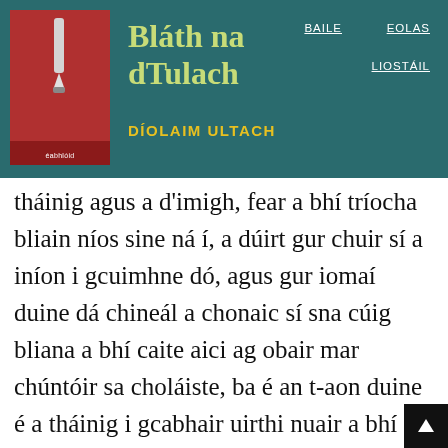Bláth na dTulach — DÍOLAIM ULTACH — BAILE  EOLAS  LIOSTÁIL
tháinig agus a d'imigh, fear a bhí tríocha bliain níos sine ná í, a dúirt gur chuir sí a iníon i gcuimhne dó, agus gur iomaí duine dá chineál a chonaic sí sna cúig bliana a bhí caite aici ag obair mar chúntóir sa choláiste, ba é an t-aon duine é a tháinig i gcabhair uirthi nuair a bhí a deirfiúr san ospidéal le hailse scornaí. Agus cé nach raibh an t-airgead a